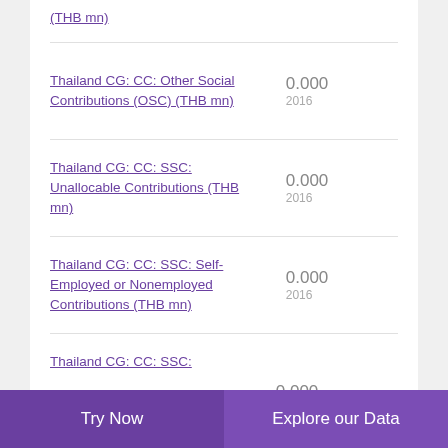(THB mn)
Thailand CG: CC: Other Social Contributions (OSC) (THB mn) — 0.000, 2016
Thailand CG: CC: SSC: Unallocable Contributions (THB mn) — 0.000, 2016
Thailand CG: CC: SSC: Self-Employed or Nonemployed Contributions (THB mn) — 0.000, 2016
Thailand CG: CC: SSC: — 0.000
Try Now   Explore our Data